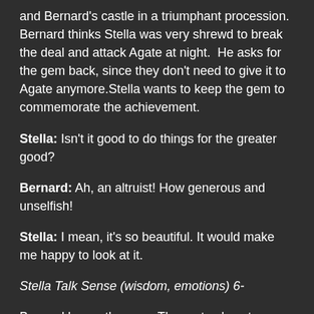and Bernard's castle in a triumphant procession. Bernard thinks Stella was very shrewd to break the deal and attack Agate at night.  He asks for the gem back, since they don't need to give it to Agate anymore.Stella wants to keep the gem to commemorate the achievement.
Stella: Isn't it good to do things for the greater good?
Bernard: Ah, an altruist! How generous and unselfish!
Stella: I mean, it's so beautiful. It would make me happy to look at it.
Stella Talk Sense (wisdom, emotions) 6-
Bernard keeps the gem. The party plans to continue on to the port. Bernard says Bertha can carry them, if they are willing to wait for her to walk up. That sounds like a good plan.